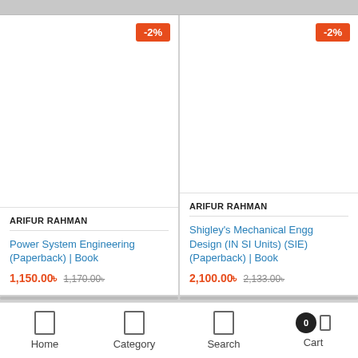ARIFUR RAHMAN
Power System Engineering (Paperback) | Book
1,150.00৳  1,170.00৳
-2%
ARIFUR RAHMAN
Shigley's Mechanical Engg Design (IN SI Units) (SIE) (Paperback) | Book
2,100.00৳  2,133.00৳
-2%
Home  Category  Search  Cart